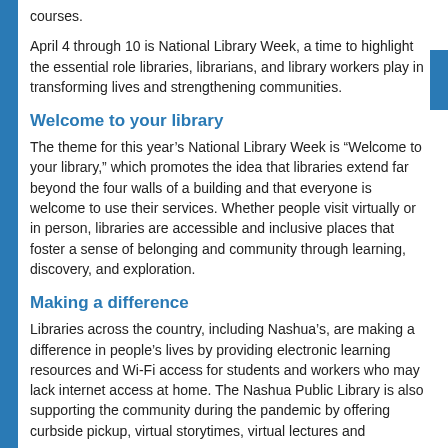courses.
April 4 through 10 is National Library Week, a time to highlight the essential role libraries, librarians, and library workers play in transforming lives and strengthening communities.
Welcome to your library
The theme for this year’s National Library Week is “Welcome to your library,” which promotes the idea that libraries extend far beyond the four walls of a building and that everyone is welcome to use their services. Whether people visit virtually or in person, libraries are accessible and inclusive places that foster a sense of belonging and community through learning, discovery, and exploration.
Making a difference
Libraries across the country, including Nashua’s, are making a difference in people’s lives by providing electronic learning resources and Wi-Fi access for students and workers who may lack internet access at home. The Nashua Public Library is also supporting the community during the pandemic by offering curbside pickup, virtual storytimes, virtual lectures and